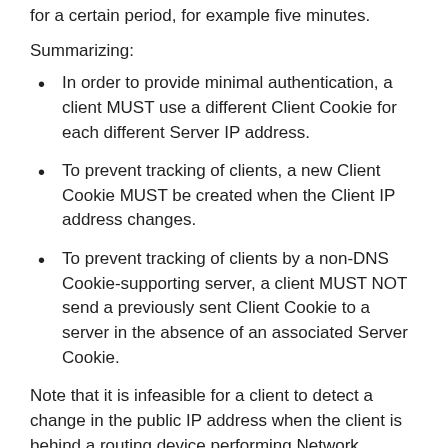for a certain period, for example five minutes.
Summarizing:
In order to provide minimal authentication, a client MUST use a different Client Cookie for each different Server IP address.
To prevent tracking of clients, a new Client Cookie MUST be created when the Client IP address changes.
To prevent tracking of clients by a non-DNS Cookie-supporting server, a client MUST NOT send a previously sent Client Cookie to a server in the absence of an associated Server Cookie.
Note that it is infeasible for a client to detect a change in the public IP address when the client is behind a routing device performing Network Address Translation (NAT). A server may track the public IP address of that routing device performing the NAT. Preventing tracking of the public IP of a NAT-performing routing device is beyond the scope of this